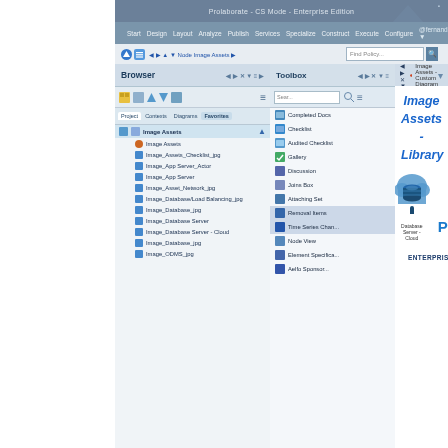[Figure (screenshot): Prolaborate Enterprise Edition application screenshot showing Browser panel with Image Assets tree, Toolbox panel with diagram element list, and main content area displaying Image Assets Library with database server, app server, and database server cloud icons plus Prolaborate branding logo and Enterprise badge.]